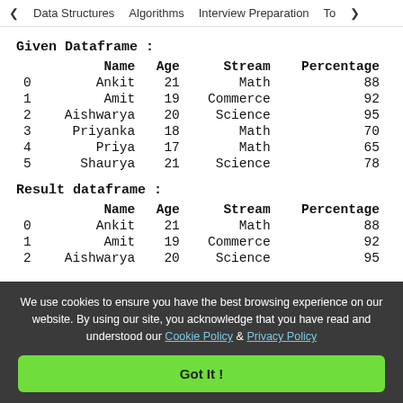< Data Structures   Algorithms   Interview Preparation   To>
Given Dataframe :
|  | Name | Age | Stream | Percentage |
| --- | --- | --- | --- | --- |
| 0 | Ankit | 21 | Math | 88 |
| 1 | Amit | 19 | Commerce | 92 |
| 2 | Aishwarya | 20 | Science | 95 |
| 3 | Priyanka | 18 | Math | 70 |
| 4 | Priya | 17 | Math | 65 |
| 5 | Shaurya | 21 | Science | 78 |
Result dataframe :
|  | Name | Age | Stream | Percentage |
| --- | --- | --- | --- | --- |
| 0 | Ankit | 21 | Math | 88 |
| 1 | Amit | 19 | Commerce | 92 |
| 2 | Aishwarya | 20 | Science | 95 |
We use cookies to ensure you have the best browsing experience on our website. By using our site, you acknowledge that you have read and understood our Cookie Policy & Privacy Policy
Got It !